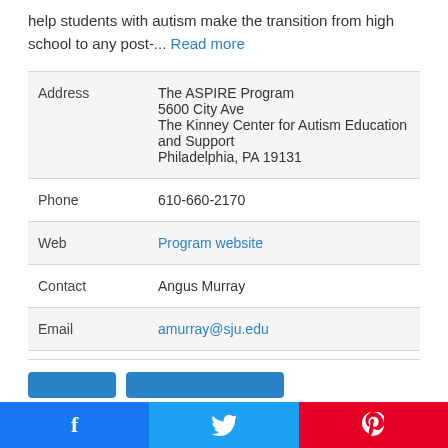help students with autism make the transition from high school to any post-... Read more
| Field | Value |
| --- | --- |
| Address | The ASPIRE Program
5600 City Ave
The Kinney Center for Autism Education and Support
Philadelphia, PA 19131 |
| Phone | 610-660-2170 |
| Web | Program website |
| Contact | Angus Murray |
| Email | amurray@sju.edu |
[Figure (other): Social media share bar with Facebook, Twitter, and Pinterest icons]